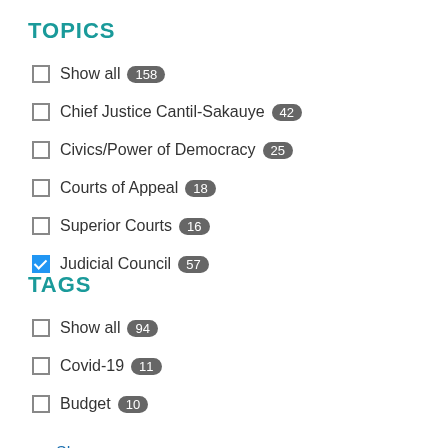TOPICS
Show all 158
Chief Justice Cantil-Sakauye 42
Civics/Power of Democracy 25
Courts of Appeal 18
Superior Courts 16
Judicial Council 57 (checked)
TAGS
Show all 94
Covid-19 11
Budget 10
Show more